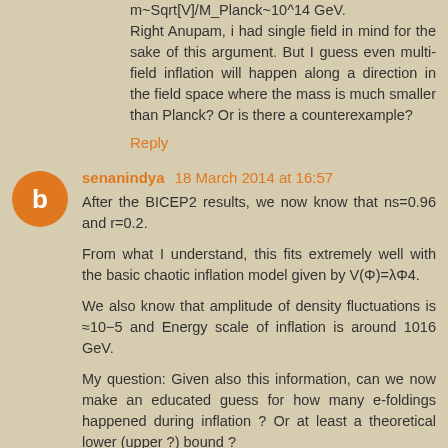m~Sqrt[V]/M_Planck~10^14 GeV. Right Anupam, i had single field in mind for the sake of this argument. But I guess even multi-field inflation will happen along a direction in the field space where the mass is much smaller than Planck? Or is there a counterexample?
Reply
senanindya  18 March 2014 at 16:57
After the BICEP2 results, we now know that ns=0.96 and r=0.2.
From what I understand, this fits extremely well with the basic chaotic inflation model given by V(Φ)=λΦ4.
We also know that amplitude of density fluctuations is ≈10−5 and Energy scale of inflation is around 1016 GeV.
My question: Given also this information, can we now make an educated guess for how many e-foldings happened during inflation ? Or at least a theoretical lower (upper ?) bound ?